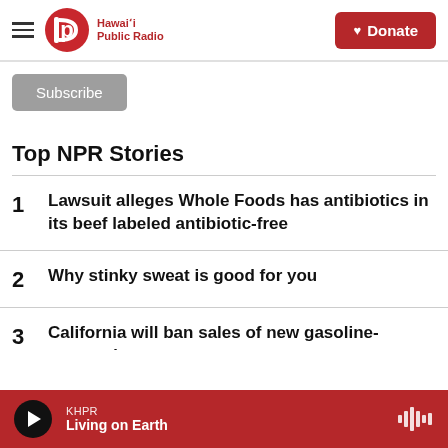Hawaiʻi Public Radio — Donate
Subscribe
Top NPR Stories
1 Lawsuit alleges Whole Foods has antibiotics in its beef labeled antibiotic-free
2 Why stinky sweat is good for you
3 California will ban sales of new gasoline-powered...
KHPR — Living on Earth